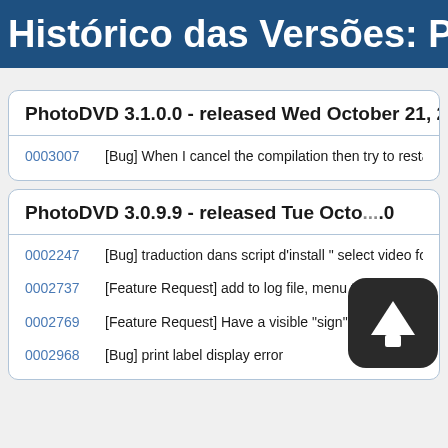Histórico das Versões: Pho
PhotoDVD 3.1.0.0 - released Wed October 21, 20
0003007   [Bug] When I cancel the compilation then try to restart it, I get an a
PhotoDVD 3.0.9.9 - released Tue Octo... .0
0002247   [Bug] traduction dans script d'install " select video format"
0002737   [Feature Request] add to log file, menu template used
0002769   [Feature Request] Have a visible "sign" that Athentech plugin has a
0002968   [Bug] print label display error